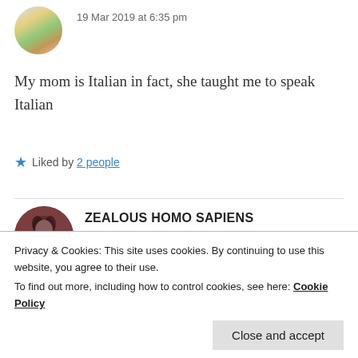[Figure (photo): Circular avatar with colorful tree illustration against warm background]
19 Mar 2019 at 6:35 pm
My mom is Italian in fact, she taught me to speak Italian
Liked by 2 people
[Figure (photo): Circular avatar showing a dark-haired person, dark reddish-brown toned image]
ZEALOUS HOMO SAPIENS
19 Mar 2019 at 6:39 pm
Privacy & Cookies: This site uses cookies. By continuing to use this website, you agree to their use.
To find out more, including how to control cookies, see here: Cookie Policy
Close and accept